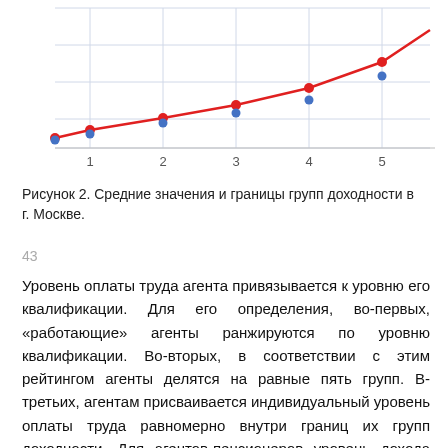[Figure (continuous-plot): Line chart showing two curves (red and blue dots connected by a red line) rising from left to right, x-axis labeled 1 through 5. Represents average values and boundaries of income groups in Moscow.]
Рисунок 2. Средние значения и границы групп доходности в г. Москве.
43
Уровень оплаты труда агента привязывается к уровню его квалификации. Для его определения, во-первых, «работающие» агенты ранжируются по уровню квалификации. Во-вторых, в соответствии с этим рейтингом агенты делятся на равные пять групп. В-третьих, агентам присваивается индивидуальный уровень оплаты труда равномерно внутри границ их групп доходности. Для агентов-пенсионеров уровень дохода определяется исходя из